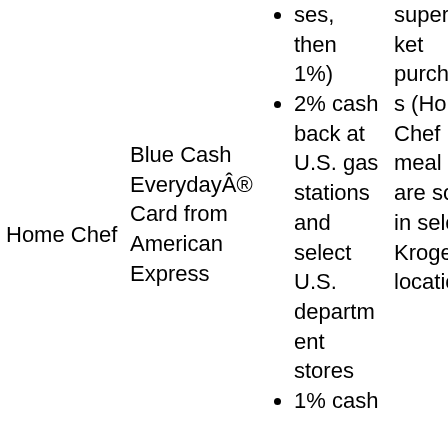| Home Chef | Blue Cash Everyday® Card from American Express | • ses, then 1%)
• 2% cash back at U.S. gas stations and select U.S. department stores
• 1% cash | supermarket purchases (Home Chef meal kits are sold in select Kroger locations) |